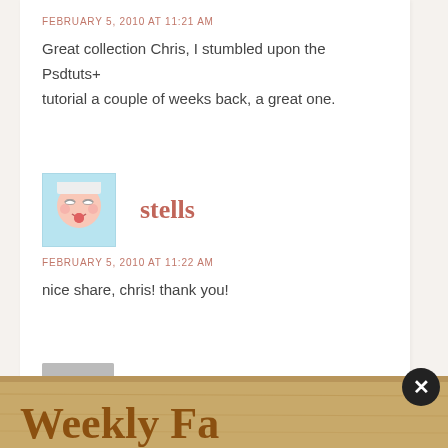FEBRUARY 5, 2010 AT 11:21 AM
Great collection Chris, I stumbled upon the Psdtuts+ tutorial a couple of weeks back, a great one.
stells
FEBRUARY 5, 2010 AT 11:22 AM
nice share, chris! thank you!
Sascha
FEBRUARY 5, 2010 AT 11:32 AM
[Figure (illustration): Wooden sign with text 'Weekly Fa...' in the banner at the bottom]
[Figure (illustration): Close button (X) dark circle overlay]